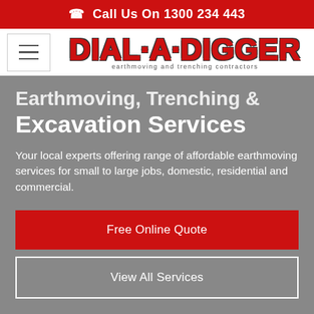Call Us On 1300 234 443
[Figure (logo): Dial-A-Digger logo with text 'earthmoving and trenching contractors']
Earthmoving, Trenching & Excavation Services
Your local experts offering range of affordable earthmoving services for small to large jobs, domestic, residential and commercial.
Free Online Quote
View All Services